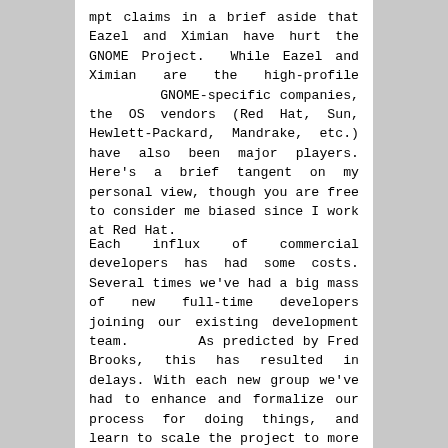mpt claims in a brief aside that Eazel and Ximian have hurt the GNOME Project. While Eazel and Ximian are the high-profile GNOME-specific companies, the OS vendors (Red Hat, Sun, Hewlett-Packard, Mandrake, etc.) have also been major players. Here's a brief tangent on my personal view, though you are free to consider me biased since I work at Red Hat.
Each influx of commercial developers has had some costs. Several times we've had a big mass of new full-time developers joining our existing development team. As predicted by Fred Brooks, this has resulted in delays. With each new group we've had to enhance and formalize our process for doing things, and learn to scale the project to more participants; and the